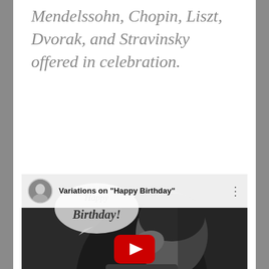Mendelssohn, Chopin, Liszt, Dvorak, and Stravinsky offered in celebration.
[Figure (screenshot): YouTube video thumbnail showing a black-and-white photo of a person with hand to face, overlaid with a speech bubble saying 'Happy Birthday!' and YouTube play button. Video title: Variations on "Happy Birthday"]